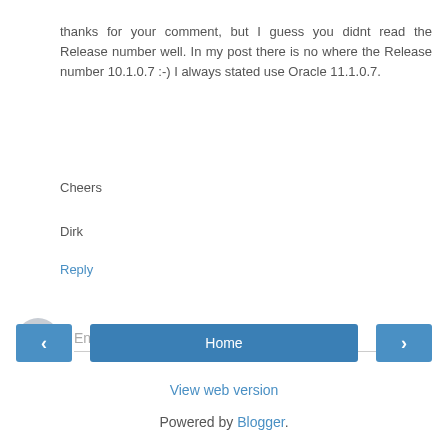thanks for your comment, but I guess you didnt read the Release number well. In my post there is no where the Release number 10.1.0.7 :-) I always stated use Oracle 11.1.0.7.
Cheers
Dirk
Reply
[Figure (other): Comment input area with avatar placeholder and 'Enter Comment' text field]
[Figure (other): Navigation buttons: left arrow, Home, right arrow]
View web version
Powered by Blogger.